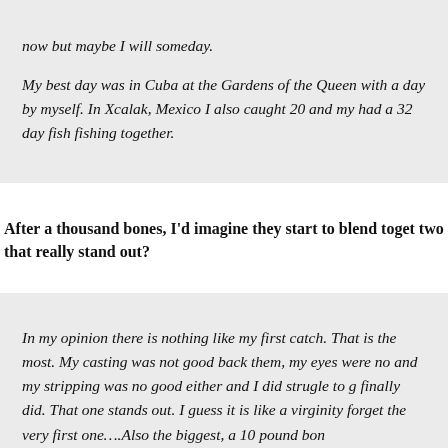now but maybe I will someday.

My best day was in Cuba at the Gardens of the Queen with a day by myself. In Xcalak, Mexico I also caught 20 and my had a 32 day fish fishing together.
After a thousand bones, I'd imagine they start to blend together. Are there one or two that really stand out?
In my opinion there is nothing like my first catch. That is the most. My casting was not good back them, my eyes were no and my stripping was no good either and I did strugle to g finally did. That one stands out. I guess it is like a virginity forget the very first one….Also the biggest, a 10 pound bon